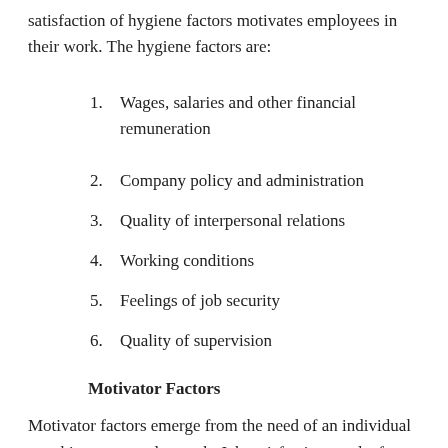satisfaction of hygiene factors motivates employees in their work. The hygiene factors are:
1. Wages, salaries and other financial remuneration
2. Company policy and administration
3. Quality of interpersonal relations
4. Working conditions
5. Feelings of job security
6. Quality of supervision
Motivator Factors
Motivator factors emerge from the need of an individual to achieve personal growth. Job satisfaction results from the presence of motivator factors. Moreover, effective motivator factors do not only lead to job satisfaction, but also to better